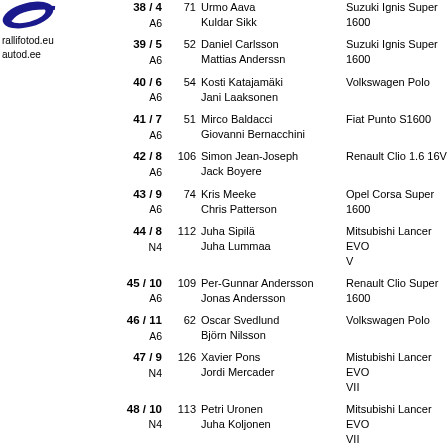[Figure (logo): Blue curved logo graphic for rallifotod.eu and autod.ee]
rallifotod.eu
autod.ee
38 / 4 A6  71 Urmo Aava / Kuldar Sikk  Suzuki Ignis Super 1600
39 / 5 A6  52 Daniel Carlsson / Mattias Anderssn  Suzuki Ignis Super 1600
40 / 6 A6  54 Kosti Katajamäki / Jani Laaksonen  Volkswagen Polo
41 / 7 A6  51 Mirco Baldacci / Giovanni Bernacchini  Fiat Punto S1600
42 / 8 A6  106 Simon Jean-Joseph / Jack Boyere  Renault Clio 1.6 16V
43 / 9 A6  74 Kris Meeke / Chris Patterson  Opel Corsa Super 1600
44 / 8 N4  112 Juha Sipilä / Juha Lummaa  Mitsubishi Lancer EVO V
45 / 10 A6  109 Per-Gunnar Andersson / Jonas Andersson  Renault Clio Super 1600
46 / 11 A6  62 Oscar Svedlund / Björn Nilsson  Volkswagen Polo
47 / 9 N4  126 Xavier Pons / Jordi Mercader  Mistubishi Lancer EVO VII
48 / 10 N4  113 Petri Uronen / Juha Koljonen  Mitsubishi Lancer EVO VII
49 / 12  69 Salvador Canellas  Suzuki Ignis Super